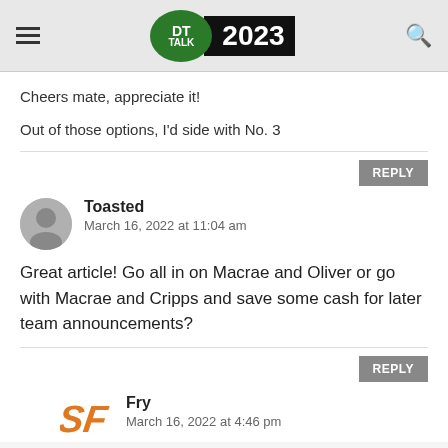DT Talk 2023
Cheers mate, appreciate it!
Out of those options, I'd side with No. 3
Toasted
March 16, 2022 at 11:04 am
Great article! Go all in on Macrae and Oliver or go with Macrae and Cripps and save some cash for later team announcements?
Fry
March 16, 2022 at 4:46 pm
Thanks legend!
Good. I think the Macrae/Cripps combo...